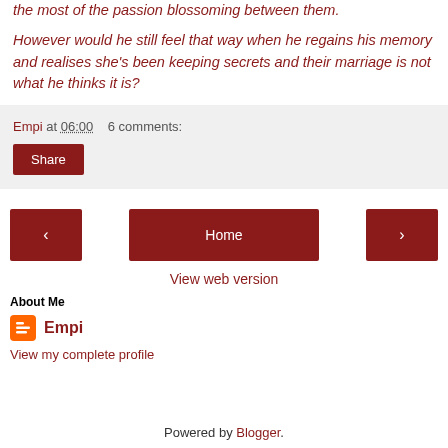the most of the passion blossoming between them.
However would he still feel that way when he regains his memory and realises she's been keeping secrets and their marriage is not what he thinks it is?
Empi at 06:00   6 comments:
Share
‹  Home  ›
View web version
About Me
Empi
View my complete profile
Powered by Blogger.